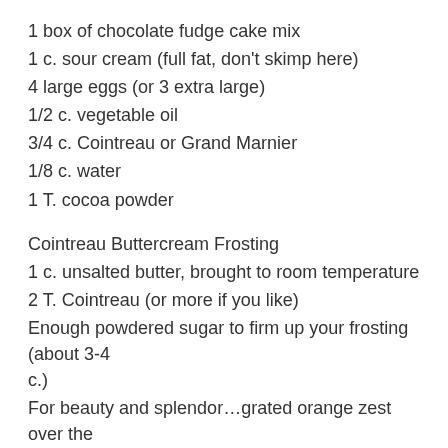1 box of chocolate fudge cake mix
1 c. sour cream (full fat, don’t skimp here)
4 large eggs (or 3 extra large)
1/2 c. vegetable oil
3/4 c. Cointreau or Grand Marnier
1/8 c. water
1 T. cocoa powder
Cointreau Buttercream Frosting
1 c. unsalted butter, brought to room temperature
2 T. Cointreau (or more if you like)
Enough powdered sugar to firm up your frosting (about 3-4 c.)
For beauty and splendor…grated orange zest over the top.
For the Cake: Preheat your oven to 325 degrees